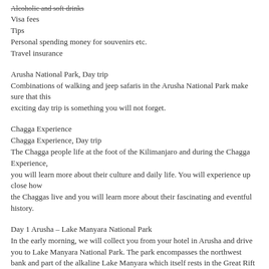Alcoholic and soft drinks
Visa fees
Tips
Personal spending money for souvenirs etc.
Travel insurance
Arusha National Park, Day trip
Combinations of walking and jeep safaris in the Arusha National Park make sure that this exciting day trip is something you will not forget.
Chagga Experience
Chagga Experience, Day trip
The Chagga people life at the foot of the Kilimanjaro and during the Chagga Experience,
you will learn more about their culture and daily life. You will experience up close how
the Chaggas live and you will learn more about their fascinating and eventful history.
Day 1 Arusha – Lake Manyara National Park
In the early morning, we will collect you from your hotel in Arusha and drive you to Lake Manyara National Park. The park encompasses the northwest bank and part of the alkaline Lake Manyara which itself rests in the Great Rift Valley. The park is perhaps best known for its flamingos, pelicans and cormorants but it is also the home for a few hundred other species of birds; it is therefore a paradise for ornithologists. Next to a great variety of birds, the “Big Game” can also be seen. With a bit of luck you might see elephants in the wooded regions and with even more fortune the tree-climbing lions. Indeed, it was thought for a long time that the Lake